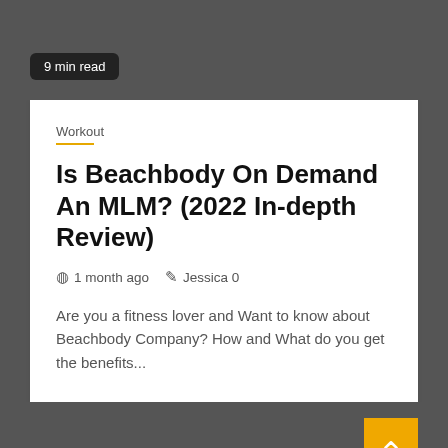9 min read
Workout
Is Beachbody On Demand An MLM? (2022 In-depth Review)
1 month ago   Jessica 0
Are you a fitness lover and Want to know about Beachbody Company? How and What do you get the benefits...